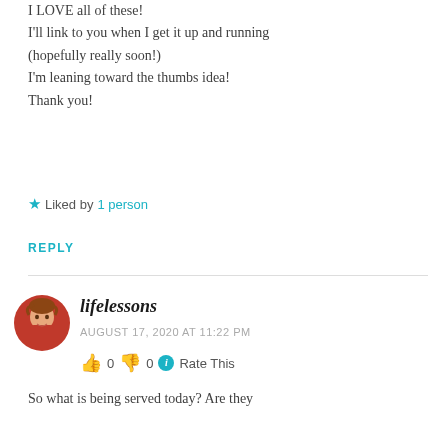I LOVE all of these!
I'll link to you when I get it up and running (hopefully really soon!)
I'm leaning toward the thumbs idea!
Thank you!
★ Liked by 1 person
REPLY
[Figure (photo): Circular avatar photo of a woman in a red top]
lifelessons
AUGUST 17, 2020 AT 11:22 PM
👍 0 👎 0 ℹ Rate This
So what is being served today? Are they